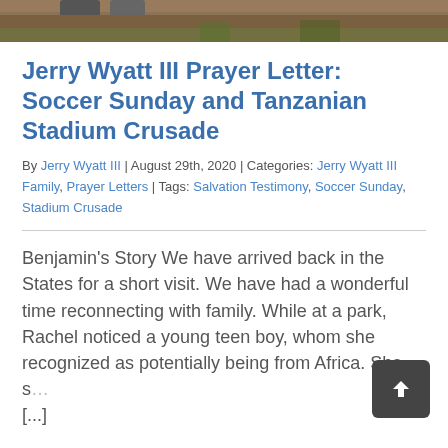[Figure (photo): Top strip showing a partial outdoor/nature photo with dirt path and grass, feet/shoes visible at top]
Jerry Wyatt III Prayer Letter: Soccer Sunday and Tanzanian Stadium Crusade
By Jerry Wyatt III | August 29th, 2020 | Categories: Jerry Wyatt III Family, Prayer Letters | Tags: Salvation Testimony, Soccer Sunday, Stadium Crusade
Benjamin's Story We have arrived back in the States for a short visit. We have had a wonderful time reconnecting with family. While at a park, Rachel noticed a young teen boy, whom she recognized as potentially being from Africa. She s… [...]